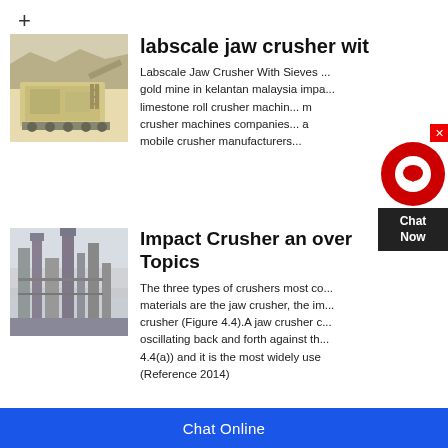+
[Figure (photo): Large mobile jaw crusher machine at a mining site with rocky terrain in background]
labscale jaw crusher wit...
Labscale Jaw Crusher With Sieves ... gold mine in kelantan malaysia imp... limestone roll crusher machin... n crusher machines companies... a mobile crusher manufacturers...
[Figure (photo): Industrial factory or cement plant with tall silos and structures in misty/dusty conditions]
Impact Crusher an over... Topics
The three types of crushers most co... materials are the jaw crusher, the im... crusher (Figure 4.4).A jaw crusher o... oscillating back and forth against th... 4.4(a)) and it is the most widely use... (Reference 2014)
Chat Online